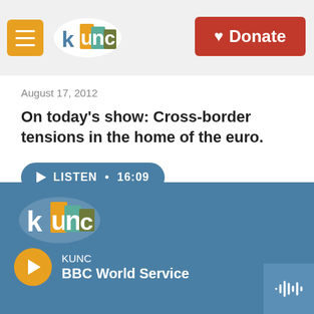[Figure (logo): KUNC radio station logo with colorful letters and hamburger menu icon, plus Donate button in red]
August 17, 2012
On today's show: Cross-border tensions in the home of the euro.
LISTEN • 16:09
Load More
[Figure (logo): KUNC logo in footer with BBC World Service label and play button]
KUNC
BBC World Service